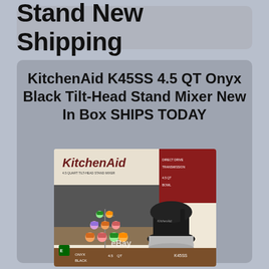Stand New Shipping
KitchenAid K45SS 4.5 QT Onyx Black Tilt-Head Stand Mixer New In Box SHIPS TODAY
[Figure (photo): KitchenAid K45SS stand mixer product box showing a black tilt-head stand mixer with a stainless steel bowl, displayed next to a cupcake stand with colorful cupcakes. The box has the KitchenAid logo and an eBay watermark at the bottom.]